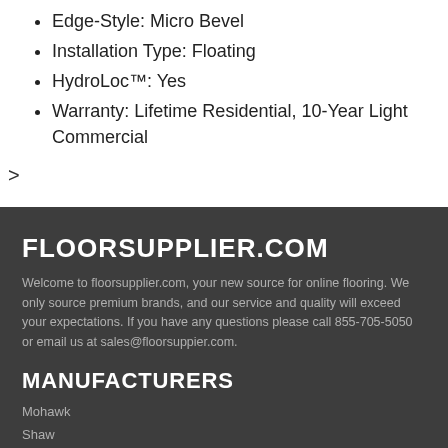Edge-Style: Micro Bevel
Installation Type: Floating
HydroLoc™: Yes
Warranty: Lifetime Residential, 10-Year Light Commercial
>
FLOORSUPPLIER.COM
Welcome to floorsupplier.com, your new source for online flooring. We only source premium brands, and our service and quality will exceed your expectations. If you have any questions please call 855-705-5050 or email us at sales@floorsuppier.com.
MANUFACTURERS
Mohawk
Shaw